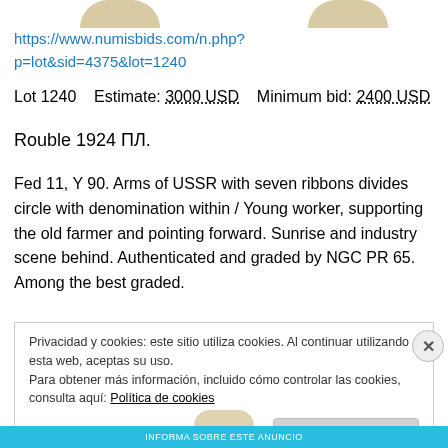https://www.numisbids.com/n.php?p=lot&sid=4375&lot=1240
Lot 1240   Estimate: 3000 USD   Minimum bid: 2400 USD
Rouble 1924 ПЛ.
Fed 11, Y 90. Arms of USSR with seven ribbons divides circle with denomination within / Young worker, supporting the old farmer and pointing forward. Sunrise and industry scene behind. Authenticated and graded by NGC PR 65. Among the best graded.
Privacidad y cookies: este sitio utiliza cookies. Al continuar utilizando esta web, aceptas su uso.
Para obtener más información, incluido cómo controlar las cookies, consulta aquí: Política de cookies
Cerrar y aceptar